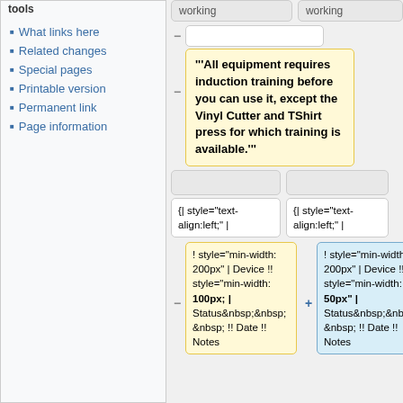tools
What links here
Related changes
Special pages
Printable version
Permanent link
Page information
working
working
'''All equipment requires induction training before you can use it, except the Vinyl Cutter and TShirt press for which training is available.'''
{| style="text-align:left;" |
{| style="text-align:left;" |
! style="min-width: 200px" | Device !! style="min-width: 100px; | Status&nbsp;&nbsp;&nbsp; !! Date !! Notes
! style="min-width: 200px" | Device !! style="min-width: 50px" | Status&nbsp;&nbsp;&nbsp; !! Date !! Notes